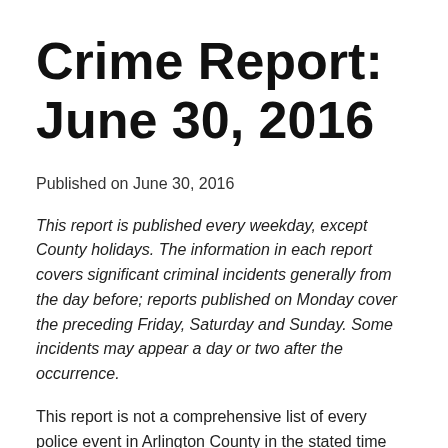Crime Report: June 30, 2016
Published on June 30, 2016
This report is published every weekday, except County holidays. The information in each report covers significant criminal incidents generally from the day before; reports published on Monday cover the preceding Friday, Saturday and Sunday. Some incidents may appear a day or two after the occurrence.
This report is not a comprehensive list of every police event in Arlington County in the stated time frame. Addresses shown indicate blocks and not specific addresses. For